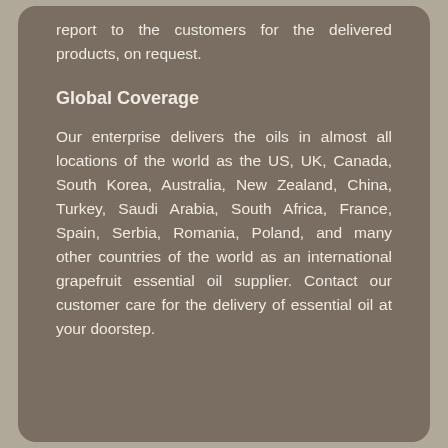report to the customers for the delivered products, on request.
Global Coverage
Our enterprise delivers the oils in almost all locations of the world as the US, UK, Canada, South Korea, Australia, New Zealand, China, Turkey, Saudi Arabia, South Africa, France, Spain, Serbia, Romania, Poland, and many other countries of the world as an international grapefruit essential oil supplier. Contact our customer care for the delivery of essential oil at your doorstep.